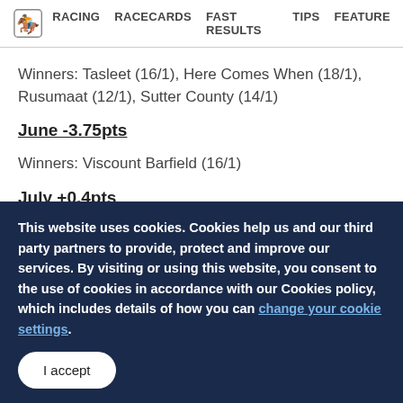RACING   RACECARDS   FAST RESULTS   TIPS   FEATURE
Winners: Tasleet (16/1), Here Comes When (18/1), Rusumaat (12/1), Sutter County (14/1)
June -3.75pts
Winners: Viscount Barfield (16/1)
July +0.4pts
This website uses cookies. Cookies help us and our third party partners to provide, protect and improve our services. By visiting or using this website, you consent to the use of cookies in accordance with our Cookies policy, which includes details of how you can change your cookie settings.
I accept